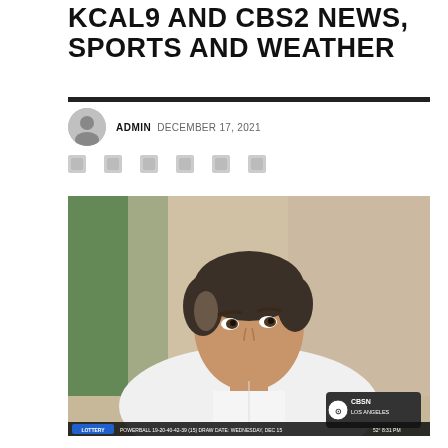KCAL9 AND CBS2 NEWS, SPORTS AND WEATHER
ADMIN   DECEMBER 17, 2021
[Figure (photo): A middle-aged man in a white dress shirt, photographed in a TV broadcast screenshot with a CBSN Los Angeles logo in the lower right and a lottery ticker at the bottom showing POWERBALL 19-20-40-42-39 (15), DRAW DATE: WEDNESDAY, DEC 15, 52°, 8:31 PM]